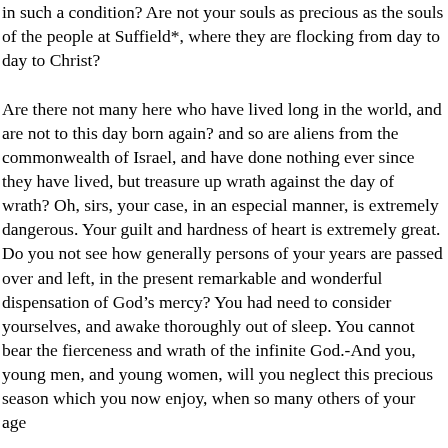in such a condition? Are not your souls as precious as the souls of the people at Suffield*, where they are flocking from day to day to Christ?

Are there not many here who have lived long in the world, and are not to this day born again? and so are aliens from the commonwealth of Israel, and have done nothing ever since they have lived, but treasure up wrath against the day of wrath? Oh, sirs, your case, in an especial manner, is extremely dangerous. Your guilt and hardness of heart is extremely great. Do you not see how generally persons of your years are passed over and left, in the present remarkable and wonderful dispensation of God’s mercy? You had need to consider yourselves, and awake thoroughly out of sleep. You cannot bear the fierceness and wrath of the infinite God.-And you, young men, and young women, will you neglect this precious season which you now enjoy, when so many others of your age